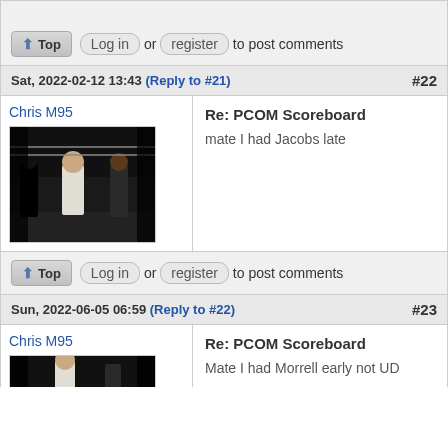Top | Log in or register to post comments
Sat, 2022-02-12 13:43 (Reply to #21) #22
Chris M95
[Figure (photo): Avatar image showing a boxing scene with people in a ring]
Re: PCOM Scoreboard
mate I had Jacobs late
Top | Log in or register to post comments
Sun, 2022-06-05 06:59 (Reply to #22) #23
Chris M95
Re: PCOM Scoreboard
Mate I had Morrell early not UD